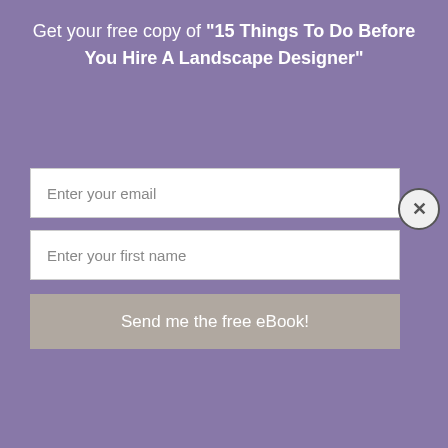Get your free copy of "15 Things To Do Before You Hire A Landscape Designer"
Enter your email
Enter your first name
Send me the free eBook!
July 16, 2015 By Christiane Holmquist
[Figure (photo): Garden photo showing lush green trees and foliage with a stone wall structure in the background]